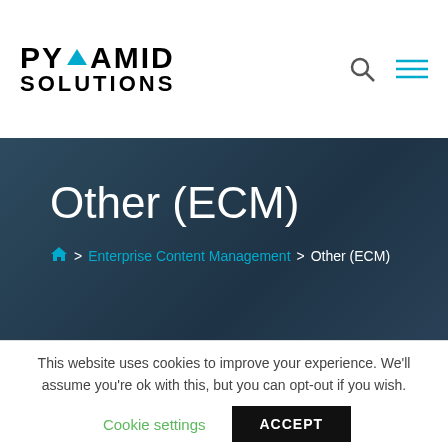PYRAMID SOLUTIONS
Other (ECM)
Home > Enterprise Content Management > Other (ECM)
This website uses cookies to improve your experience. We'll assume you're ok with this, but you can opt-out if you wish.
Cookie settings  ACCEPT